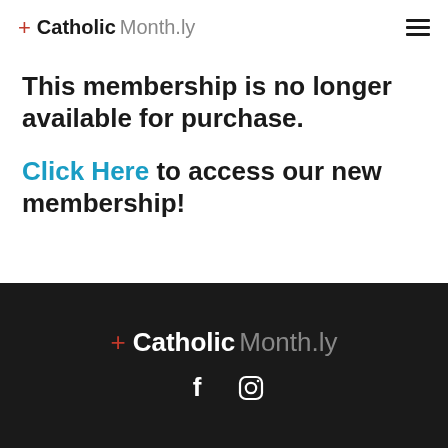+ Catholic Month.ly
This membership is no longer available for purchase.
Click Here to access our new membership!
+ Catholic Month.ly